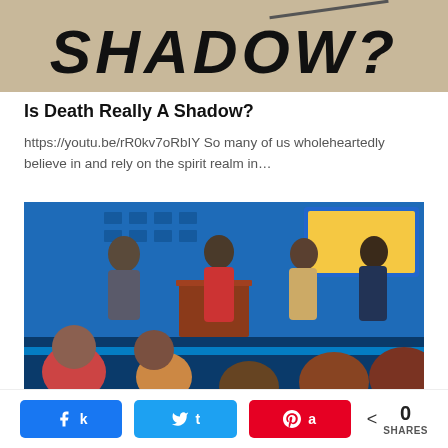[Figure (photo): Textured concrete/asphalt background with large bold text reading 'SHADOW?' and a diagonal line above]
Is Death Really A Shadow?
https://youtu.be/rR0kv7oRbIY So many of us wholeheartedly believe in and rely on the spirit realm in…
[Figure (photo): Panel discussion in a TV studio setting with speakers seated on stage and audience members viewed from behind]
[Figure (infographic): Social share bar with Facebook, Twitter, Pinterest buttons and a share count showing 0 SHARES]